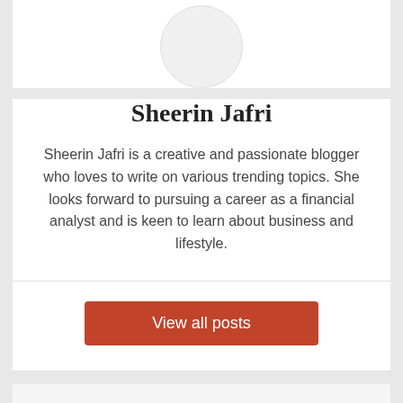[Figure (photo): Circular avatar placeholder image (gray circle) for Sheerin Jafri]
Sheerin Jafri
Sheerin Jafri is a creative and passionate blogger who loves to write on various trending topics. She looks forward to pursuing a career as a financial analyst and is keen to learn about business and lifestyle.
View all posts
Type here to search...
All Logos, Images & Trademarks Are Belongs To Their Respective Owners. If you found